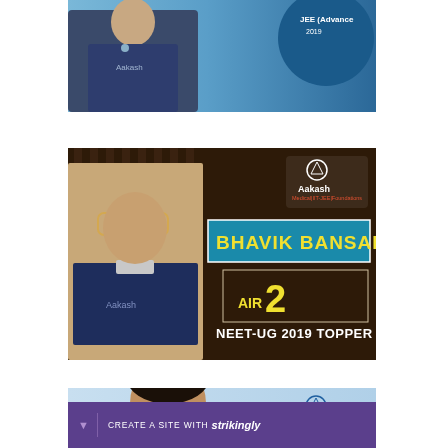[Figure (photo): Top partial banner showing an Aakash student in dark blue polo shirt with a blue circle graphic, partially visible at top of page]
[Figure (photo): Aakash Institute promotional banner featuring Bhavik Bansal, AIR 2 NEET-UG 2019 Topper. Student wearing navy blue polo with glasses on brown striped background. Yellow text 'BHAVIK BANSAL' on teal banner, 'AIR 2' in large yellow text, 'NEET-UG 2019 TOPPER' in white text. Aakash logo in top right corner.]
[Figure (photo): Bottom partial Aakash Institute banner showing a student face and partial name ending in 'sal', with Aakash Medical IIT-JEE Foundations logo in top right. Light blue background.]
CREATE A SITE WITH strikingly